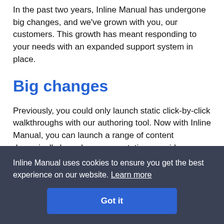In the past two years, Inline Manual has undergone big changes, and we've grown with you, our customers. This growth has meant responding to your needs with an expanded support system in place.
Big changes
Previously, you could only launch static click-by-click walkthroughs with our authoring tool. Now with Inline Manual, you can launch a range of content dynamically based on segmentation, provide
Inline Manual uses cookies to ensure you get the best experience on our website. Learn more
Got it